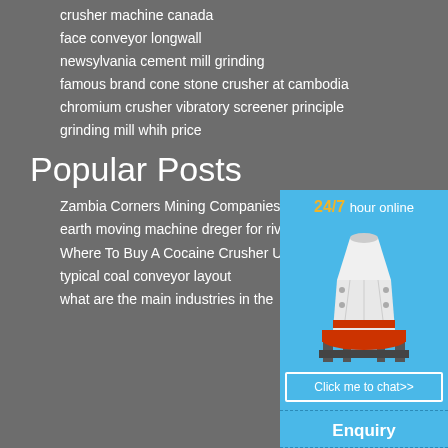crusher machine canada
face conveyor longwall
newsylvania cement mill grinding
famous brand cone stone crusher at cambodia
chromium crusher vibratory screener principle
grinding mill whih price
Popular Posts
Zambia Corners Mining Companies Evasion Mining Com
earth moving machine dreger for riv
Where To Buy A Cocaine Crusher U
typical coal conveyor layout
what are the main industries in the
[Figure (infographic): Sidebar panel with 24/7 hour online text, image of a cone crusher machine, Click me to chat>> button, Enquiry section, and limingjlmofen text on a blue background]